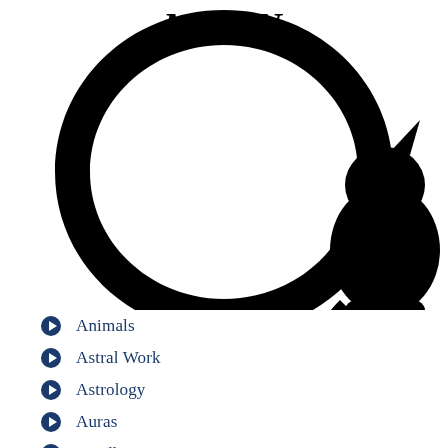[Figure (illustration): Black silhouette of a crescent moon shape (large circular ring open on right side) with the word 'MOON' in decorative black lettering at the top center, and a black silhouette of a sitting cat on the right side of the ring.]
Animals
Astral Work
Astrology
Auras
Candle Magic
Correspondences
Crystal Stones